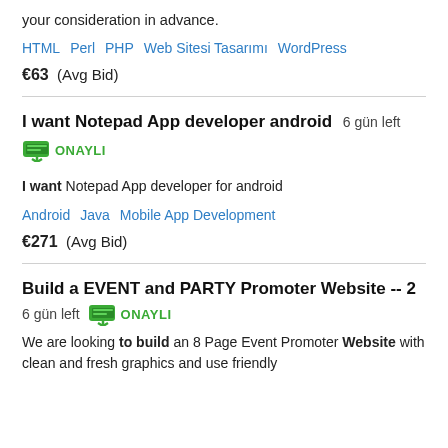your consideration in advance.
HTML   Perl   PHP   Web Sitesi Tasarımı   WordPress
€63  (Avg Bid)
I want Notepad App developer android   6 gün left
ONAYLI
I want Notepad App developer for android
Android   Java   Mobile App Development
€271  (Avg Bid)
Build a EVENT and PARTY Promoter Website -- 2
6 gün left   ONAYLI
We are looking to build an 8 Page Event Promoter Website with clean and fresh graphics and use friendly